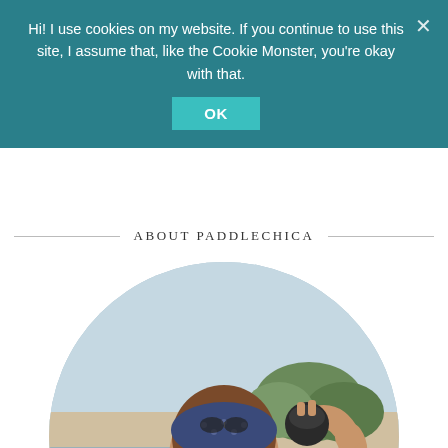Hi! I use cookies on my website. If you continue to use this site, I assume that, like the Cookie Monster, you're okay with that.
OK
ABOUT PADDLECHICA
[Figure (photo): Circular portrait photo of a woman wearing a blue bandana, white tank top, and fingerless gloves, smiling and flexing her arm, outdoors near water.]